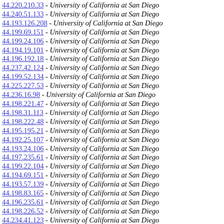44.220.210.33 - University of California at San Diego
44.240.51.133 - University of California at San Diego
44.193.126.208 - University of California at San Diego
44.199.69.151 - University of California at San Diego
44.199.24.106 - University of California at San Diego
44.194.19.101 - University of California at San Diego
44.196.192.18 - University of California at San Diego
44.237.42.124 - University of California at San Diego
44.199.52.134 - University of California at San Diego
44.225.227.53 - University of California at San Diego
44.236.16.98 - University of California at San Diego
44.198.221.47 - University of California at San Diego
44.198.31.113 - University of California at San Diego
44.198.222.48 - University of California at San Diego
44.195.195.21 - University of California at San Diego
44.192.25.107 - University of California at San Diego
44.193.24.106 - University of California at San Diego
44.197.235.61 - University of California at San Diego
44.199.22.104 - University of California at San Diego
44.194.69.151 - University of California at San Diego
44.193.57.139 - University of California at San Diego
44.198.83.165 - University of California at San Diego
44.196.235.61 - University of California at San Diego
44.198.226.52 - University of California at San Diego
44.234.41.123 - University of California at San Diego
44.198.19.101 - University of California at San Diego
44.192.12.94 - University of California at San Diego
44.192.5.87 - University of California at San Diego
44.196.128.210 - University of California at San Diego
44.232.43.125 - University of California at San Diego
44.197.140.222 - University of California at San Diego